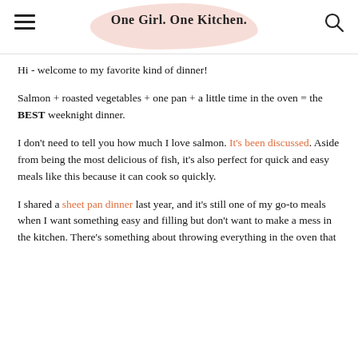One Girl. One Kitchen.
Hi - welcome to my favorite kind of dinner!
Salmon + roasted vegetables + one pan + a little time in the oven = the BEST weeknight dinner.
I don't need to tell you how much I love salmon. It's been discussed. Aside from being the most delicious of fish, it's also perfect for quick and easy meals like this because it can cook so quickly.
I shared a sheet pan dinner last year, and it's still one of my go-to meals when I want something easy and filling but don't want to make a mess in the kitchen. There's something about throwing everything in the oven that